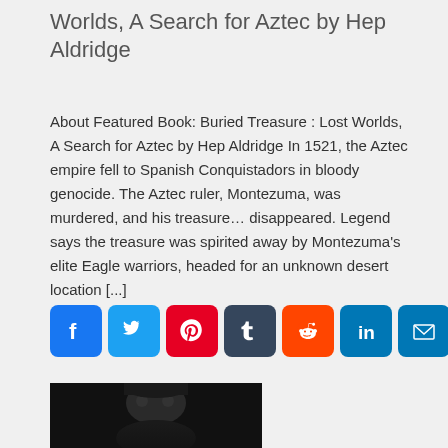Worlds, A Search for Aztec by Hep Aldridge
About Featured Book: Buried Treasure : Lost Worlds, A Search for Aztec by Hep Aldridge In 1521, the Aztec empire fell to Spanish Conquistadors in bloody genocide. The Aztec ruler, Montezuma, was murdered, and his treasure... disappeared. Legend says the treasure was spirited away by Montezuma's elite Eagle warriors, headed for an unknown desert location [...]
[Figure (infographic): Social media sharing icons: Facebook, Twitter, Pinterest, Tumblr, Reddit, LinkedIn, Email, More]
[Figure (photo): Black and white photo of a man's face/profile from below, partially visible at bottom of page]